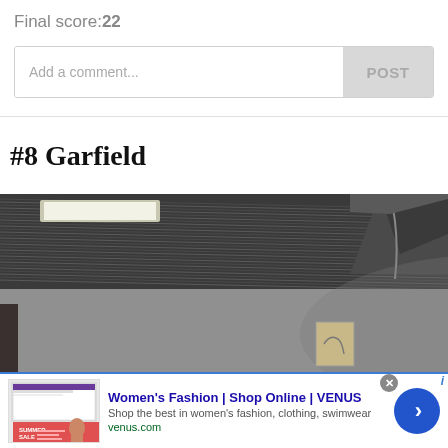Final score:22
Add a comment...
POST
#8 Garfield
[Figure (photo): Interior ceiling photo showing corrugated metal ceiling panels with fluorescent lighting fixtures and industrial/warehouse-style structure]
[Figure (screenshot): Advertisement for Women's Fashion | Shop Online | VENUS showing product thumbnail with 'SUMMER SALE' text, ad title, description 'Shop the best in women's fashion, clothing, swimwear', URL venus.com, close X button, and blue arrow navigation button]